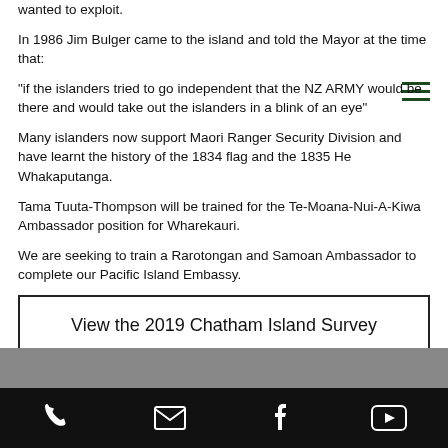wanted to exploit.
In 1986 Jim Bulger came to the island and told the Mayor at the time that:
"if the islanders tried to go independent that the NZ ARMY would be there and would take out the islanders in a blink of an eye"
Many islanders now support Maori Ranger Security Division and have learnt the history of the 1834 flag and the 1835 He Whakaputanga.
Tama Tuuta-Thompson will be trained for the Te-Moana-Nui-A-Kiwa Ambassador position for Wharekauri.
We are seeking to train a Rarotongan and Samoan Ambassador to complete our Pacific Island Embassy.
View the 2019 Chatham Island Survey
[Figure (infographic): Footer bar with phone, email, Facebook, and YouTube icons on black background]